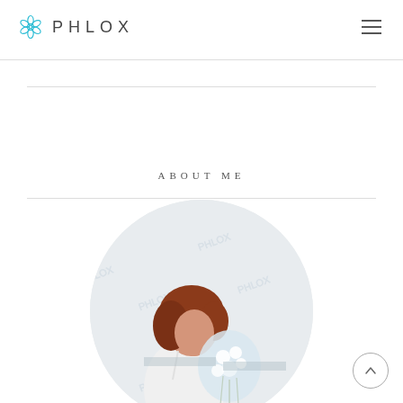PHLOX
ABOUT ME
[Figure (photo): Circular cropped photo of a young woman with auburn/red wavy hair, wearing a white top, holding white flowers, on a light background with a watermark pattern. The image contains watermark text 'PHLOX' repeated.]